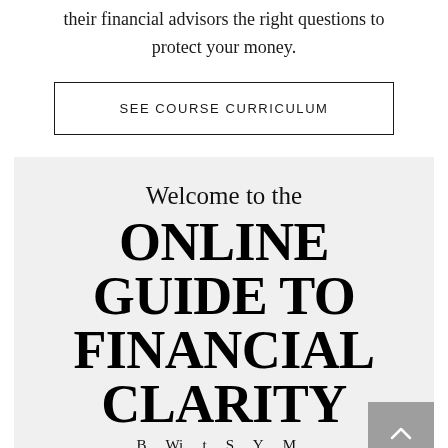their financial advisors the right questions to protect your money.
SEE COURSE CURRICULUM
Welcome to the ONLINE GUIDE TO FINANCIAL CLARITY
B... Wi... t... S... Y... M...